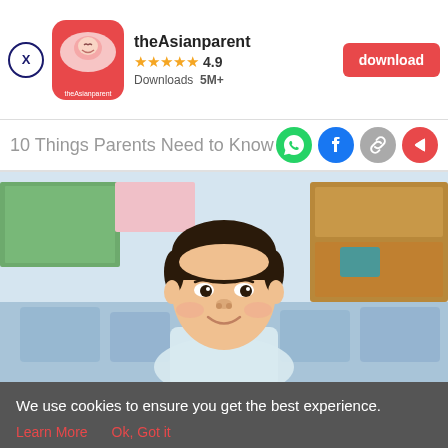[Figure (screenshot): App download banner for theAsianparent app showing app icon, 4.9 star rating, 5M+ downloads, and a download button]
10 Things Parents Need to Know Abo
[Figure (photo): Asian boy smiling in a classroom setting with blurred desks and shelves in background]
[Figure (screenshot): Bottom navigation bar with Tools, Articles, home (pregnant woman icon), Feed, and Poll tabs]
We use cookies to ensure you get the best experience.
Learn More   Ok, Got it